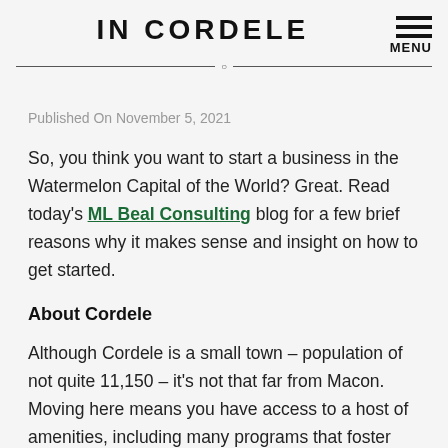IN CORDELE
MENU
Published On November 5, 2021
So, you think you want to start a business in the Watermelon Capital of the World? Great. Read today's ML Beal Consulting blog for a few brief reasons why it makes sense and insight on how to get started.
About Cordele
Although Cordele is a small town – population of not quite 11,150 – it's not that far from Macon. Moving here means you have access to a host of amenities, including many programs that foster